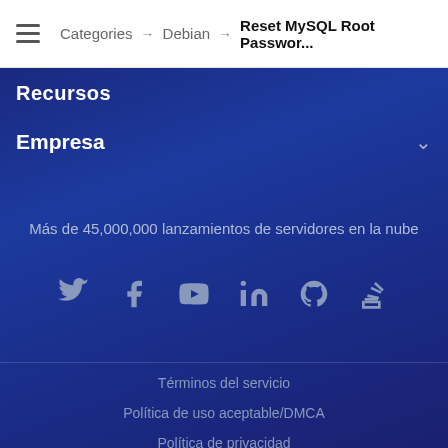Categories → Debian → Reset MySQL Root Passwor...
Recursos
Empresa
Más de 45,000,000 lanzamientos de servidores en la nube
[Figure (other): Social media icons row: Twitter, Facebook, YouTube, LinkedIn, GitHub, Stack Overflow]
Términos del servicio
Política de uso aceptable/DMCA
Política de privacidad
Política de cookies